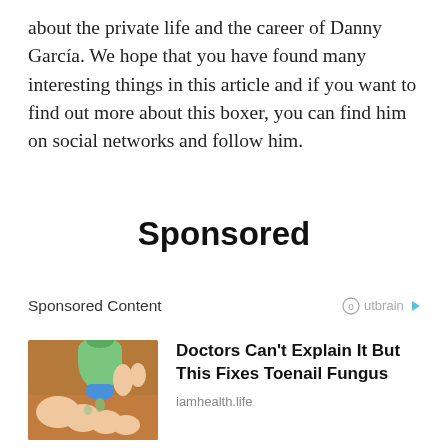about the private life and the career of Danny García. We hope that you have found many interesting things in this article and if you want to find out more about this boxer, you can find him on social networks and follow him.
Sponsored
Sponsored Content
Outbrain
Doctors Can't Explain It But This Fixes Toenail Fungus
iamhealth.life